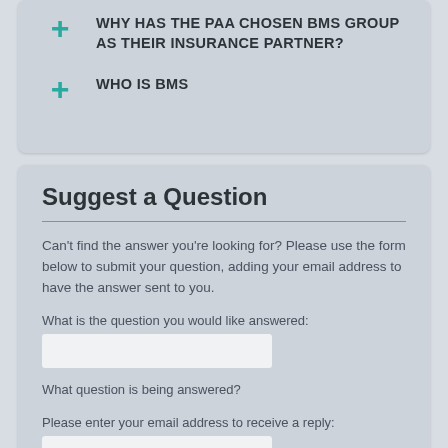WHY HAS THE PAA CHOSEN BMS GROUP AS THEIR INSURANCE PARTNER?
WHO IS BMS
Suggest a Question
Can't find the answer you're looking for? Please use the form below to submit your question, adding your email address to have the answer sent to you.
What is the question you would like answered:
What question is being answered?
Please enter your email address to receive a reply:
What name should be displayed with your FAQ?